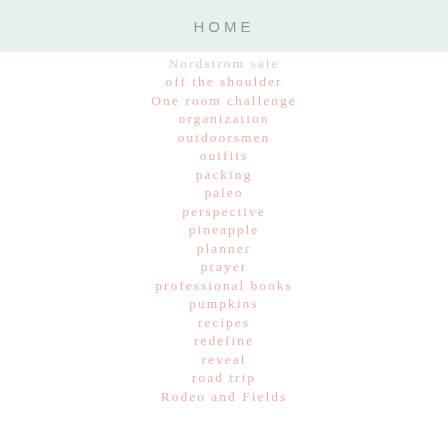HOME
Nordstrom sale
off the shoulder
One room challenge
organization
outdoorsmen
outfits
packing
paleo
perspective
pineapple
planner
prayer
professional books
pumpkins
recipes
redefine
reveal
road trip
Rodeo and Fields